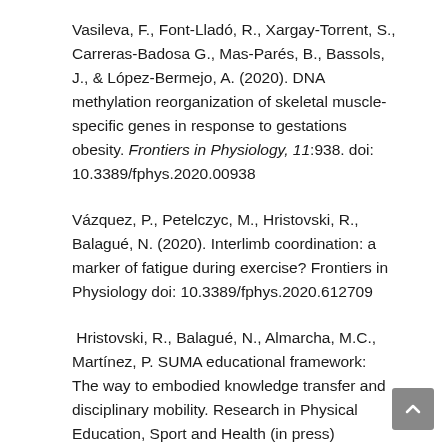Vasileva, F., Font-Lladó, R., Xargay-Torrent, S., Carreras-Badosa G., Mas-Parés, B., Bassols, J., & López-Bermejo, A. (2020). DNA methylation reorganization of skeletal muscle-specific genes in response to gestations obesity. Frontiers in Physiology, 11:938. doi: 10.3389/fphys.2020.00938
Vázquez, P., Petelczyc, M., Hristovski, R., Balagué, N. (2020). Interlimb coordination: a marker of fatigue during exercise? Frontiers in Physiology doi: 10.3389/fphys.2020.612709
Hristovski, R., Balagué, N., Almarcha, M.C., Martínez, P. SUMA educational framework: The way to embodied knowledge transfer and disciplinary mobility. Research in Physical Education, Sport and Health (in press)